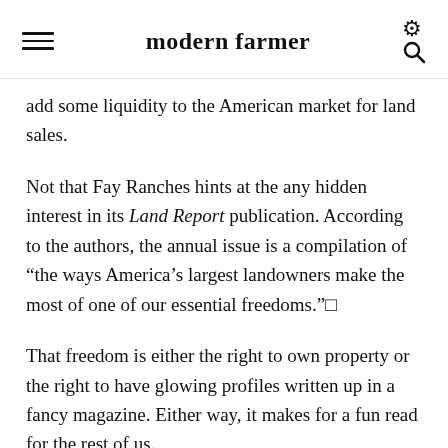modern farmer
add some liquidity to the American market for land sales.
Not that Fay Ranches hints at the any hidden interest in its Land Report publication. According to the authors, the annual issue is a compilation of “the ways America’s largest landowners make the most of one of our essential freedoms.”■
That freedom is either the right to own property or the right to have glowing profiles written up in a fancy magazine. Either way, it makes for a fun read for the rest of us.